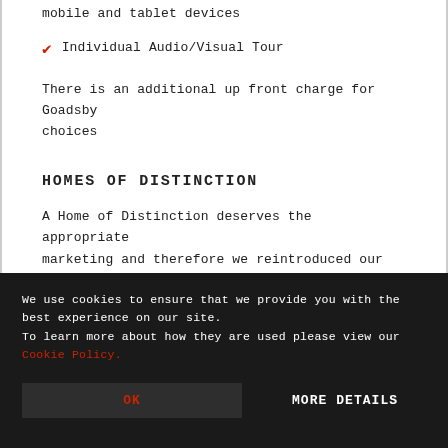mobile and tablet devices
Individual Audio/Visual Tour
There is an additional up front charge for Goadsby choices
HOMES OF DISTINCTION
A Home of Distinction deserves the appropriate marketing and therefore we reintroduced our highly
We use cookies to ensure that we provide you with the best experience on our site. To learn more about how they are used please view our Cookie Policy.
OK
MORE DETAILS